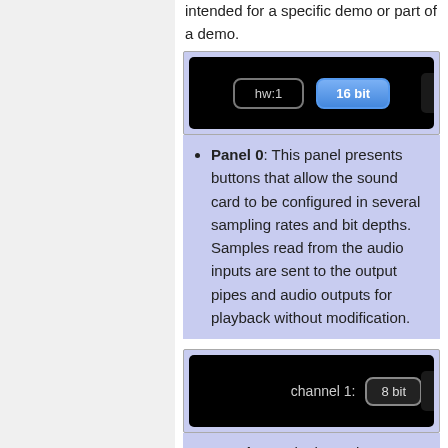intended for a specific demo or part of a demo.
[Figure (screenshot): A dark UI panel showing buttons labeled 'hw:1' (outlined) and '16 bit' (blue highlighted), partially cut off on the right.]
Panel 0: This panel presents buttons that allow the sound card to be configured in several sampling rates and bit depths. Samples read from the audio inputs are sent to the output pipes and audio outputs for playback without modification.
[Figure (screenshot): A dark UI panel with text 'channel 1:' and a button labeled '8 bit', partially cut off on right.]
Panel 1: Both channels are forwarded to the outputs,